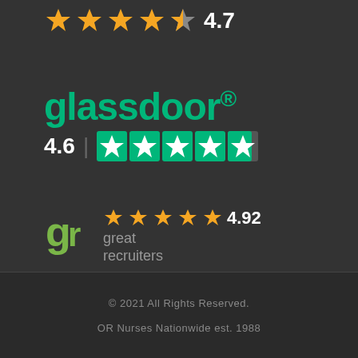[Figure (infographic): Orange star rating showing 4.7 stars out of 5]
[Figure (logo): Glassdoor logo with green text and 4.6 star rating with green Trustpilot-style stars]
[Figure (logo): Great Recruiters logo with GR icon, orange stars rating 4.92]
© 2021 All Rights Reserved.
OR Nurses Nationwide est. 1988